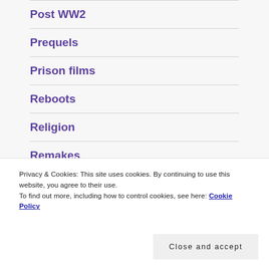Post WW2
Prequels
Prison films
Reboots
Religion
Remakes
Privacy & Cookies: This site uses cookies. By continuing to use this website, you agree to their use.
To find out more, including how to control cookies, see here: Cookie Policy
Close and accept